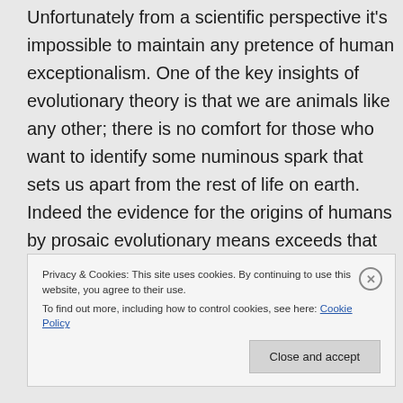Unfortunately from a scientific perspective it's impossible to maintain any pretence of human exceptionalism. One of the key insights of evolutionary theory is that we are animals like any other; there is no comfort for those who want to identify some numinous spark that sets us apart from the rest of life on earth. Indeed the evidence for the origins of humans by prosaic evolutionary means exceeds that for almost all species, if only because it attracts so
Privacy & Cookies: This site uses cookies. By continuing to use this website, you agree to their use.
To find out more, including how to control cookies, see here: Cookie Policy